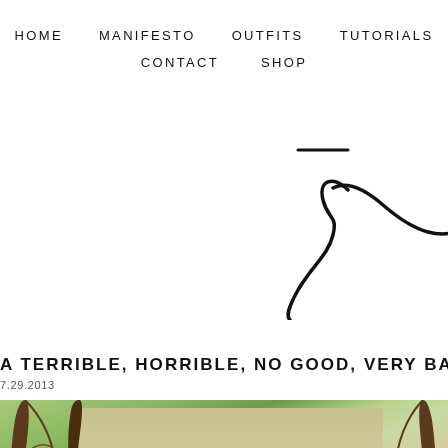HOME   MANIFESTO   OUTFITS   TUTORIALS   CONTACT   SHOP
[Figure (illustration): Partial cursive/script logo or signature, partially cut off on right side, with a short horizontal dash above it]
A TERRIBLE, HORRIBLE, NO GOOD, VERY BA
7.29.2013
[Figure (photo): Outdoor photo of a park or golf course with green grass, trees on left and right sides, a background wall or hill, and a white pole in the middle distance]